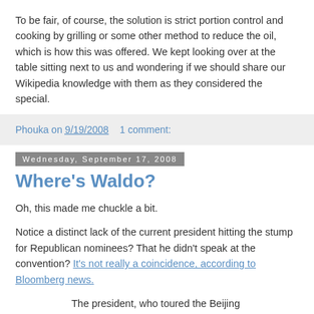To be fair, of course, the solution is strict portion control and cooking by grilling or some other method to reduce the oil, which is how this was offered. We kept looking over at the table sitting next to us and wondering if we should share our Wikipedia knowledge with them as they considered the special.
Phouka on 9/19/2008   1 comment:
Wednesday, September 17, 2008
Where's Waldo?
Oh, this made me chuckle a bit.
Notice a distinct lack of the current president hitting the stump for Republican nominees? That he didn't speak at the convention? It's not really a coincidence, according to Bloomberg news.
The president, who toured the Beijing Olympics